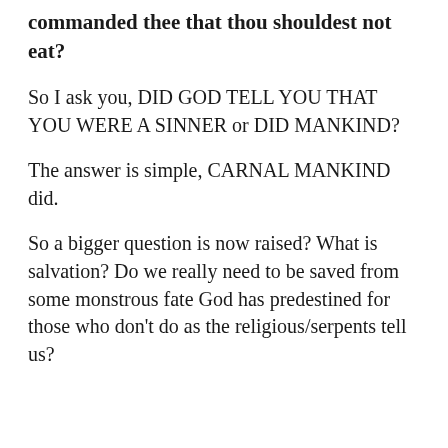commanded thee that thou shouldest not eat?
So I ask you, DID GOD TELL YOU THAT YOU WERE A SINNER or DID MANKIND?
The answer is simple, CARNAL MANKIND did.
So a bigger question is now raised? What is salvation? Do we really need to be saved from some monstrous fate God has predestined for those who don’t do as the religious/serpents tell us?